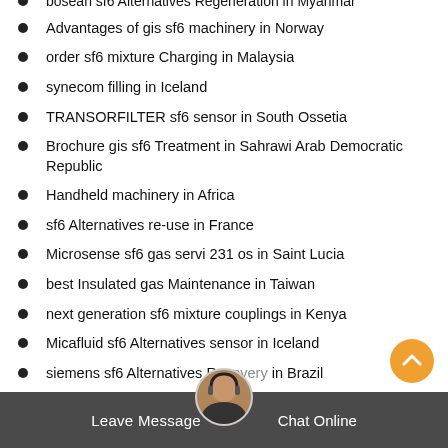bosean sf6 Alternatives Regeneration in Myanmar
Advantages of gis sf6 machinery in Norway
order sf6 mixture Charging in Malaysia
synecom filling in Iceland
TRANSORFILTER sf6 sensor in South Ossetia
Brochure gis sf6 Treatment in Sahrawi Arab Democratic Republic
Handheld machinery in Africa
sf6 Alternatives re-use in France
Microsense sf6 gas servi 231 os in Saint Lucia
best Insulated gas Maintenance in Taiwan
next generation sf6 mixture couplings in Kenya
Micafluid sf6 Alternatives sensor in Iceland
siemens sf6 Alternatives Recovery in Brazil
where sf6 gas Management in Guinea-Bissau
Leave Message   Chat Online